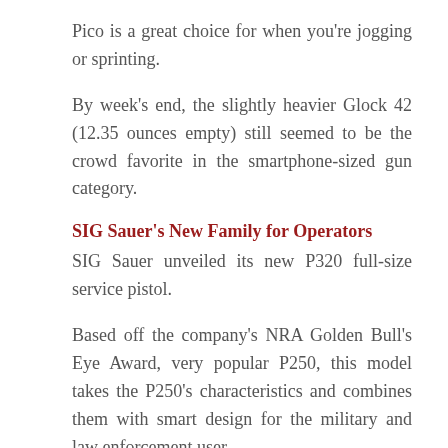Pico is a great choice for when you're jogging or sprinting.
By week's end, the slightly heavier Glock 42 (12.35 ounces empty) still seemed to be the crowd favorite in the smartphone-sized gun category.
SIG Sauer's New Family for Operators
SIG Sauer unveiled its new P320 full-size service pistol.
Based off the company's NRA Golden Bull's Eye Award, very popular P250, this model takes the P250's characteristics and combines them with smart design for the military and law enforcement user.